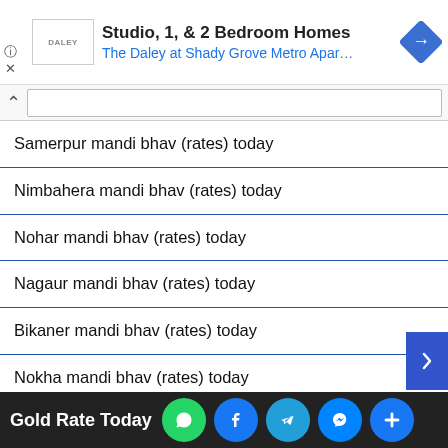[Figure (screenshot): Ad banner for The Daley at Shady Grove Metro Apartments showing logo, title 'Studio, 1, & 2 Bedroom Homes', subtitle 'The Daley at Shady Grove Metro Apar…', and navigation icon]
Samerpur mandi bhav (rates) today
Nimbahera mandi bhav (rates) today
Nohar mandi bhav (rates) today
Nagaur mandi bhav (rates) today
Bikaner mandi bhav (rates) today
Nokha mandi bhav (rates) today
Baran mandi bhav (rates) today
Alwar mandi bhav (rates) today
Jodhpur mandi bhav (rates) today
Gold Rate Today